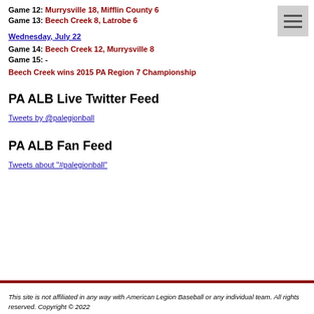Game 12: Murrysville 18, Mifflin County 6
Game 13: Beech Creek 8, Latrobe 6
Wednesday, July 22
Game 14: Beech Creek 12, Murrysville 8
Game 15: -
Beech Creek wins 2015 PA Region 7 Championship
PA ALB Live Twitter Feed
Tweets by @palegionball
PA ALB Fan Feed
Tweets about "#palegionball"
This site is not affiliated in any way with American Legion Baseball or any individual team. All rights reserved. Copyright © 2022